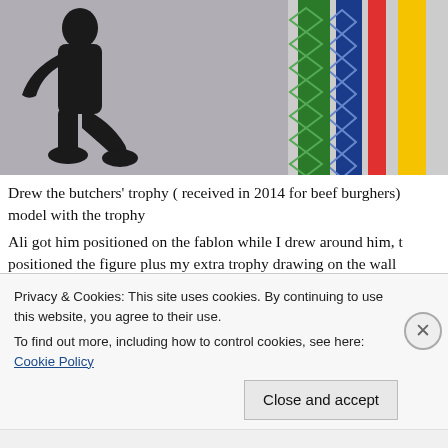[Figure (photo): Photo showing a dark silhouette of a person on the left side against a light background, and colorful stripes (green, blue, red, yellow) on the right side.]
Drew the butchers' trophy ( received in 2014 for beef burghers) model with the trophy
Ali got him positioned on the fablon while I drew around him, t positioned the figure plus my extra trophy drawing on the wall
Meanwhile Kirsty drew garments in electrical tape and converse explainwhat we were doing
It is in not easy but I think we are exploring ideas by giving atte
Privacy & Cookies: This site uses cookies. By continuing to use this website, you agree to their use.
To find out more, including how to control cookies, see here: Cookie Policy
Close and accept